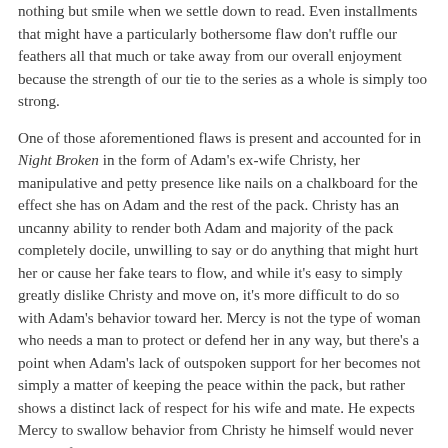nothing but smile when we settle down to read. Even installments that might have a particularly bothersome flaw don't ruffle our feathers all that much or take away from our overall enjoyment because the strength of our tie to the series as a whole is simply too strong.
One of those aforementioned flaws is present and accounted for in Night Broken in the form of Adam's ex-wife Christy, her manipulative and petty presence like nails on a chalkboard for the effect she has on Adam and the rest of the pack. Christy has an uncanny ability to render both Adam and majority of the pack completely docile, unwilling to say or do anything that might hurt her or cause her fake tears to flow, and while it's easy to simply greatly dislike Christy and move on, it's more difficult to do so with Adam's behavior toward her. Mercy is not the type of woman who needs a man to protect or defend her in any way, but there's a point when Adam's lack of outspoken support for her becomes not simply a matter of keeping the peace within the pack, but rather shows a distinct lack of respect for his wife and mate. He expects Mercy to swallow behavior from Christy he himself would never dream of enduring were their roles